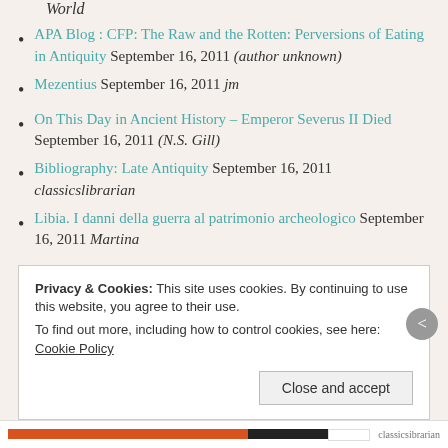World (italic continuation from previous page)
APA Blog : CFP: The Raw and the Rotten: Perversions of Eating in Antiquity September 16, 2011 (author unknown)
Mezentius September 16, 2011 jm
On This Day in Ancient History – Emperor Severus II Died September 16, 2011 (N.S. Gill)
Bibliography: Late Antiquity September 16, 2011 classicslibrarian
Libia. I danni della guerra al patrimonio archeologico September 16, 2011 Martina S...
Privacy & Cookies: This site uses cookies. By continuing to use this website, you agree to their use. To find out more, including how to control cookies, see here: Cookie Policy
Close and accept